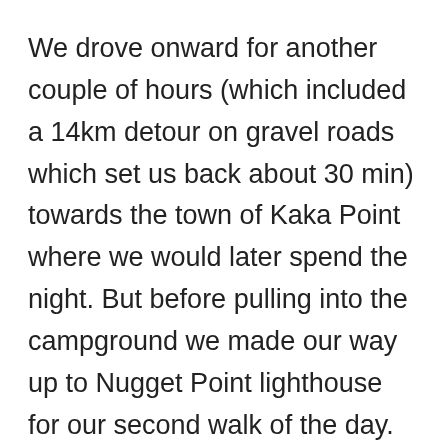We drove onward for another couple of hours (which included a 14km detour on gravel roads which set us back about 30 min) towards the town of Kaka Point where we would later spend the night. But before pulling into the campground we made our way up to Nugget Point lighthouse for our second walk of the day. This time was about a 15 minute walk along the edge of a cliff and although it was a relatively wide, flat path, I think just the height of the cliffside was enough to give us both intense vertigo and regrets for even looking down. I